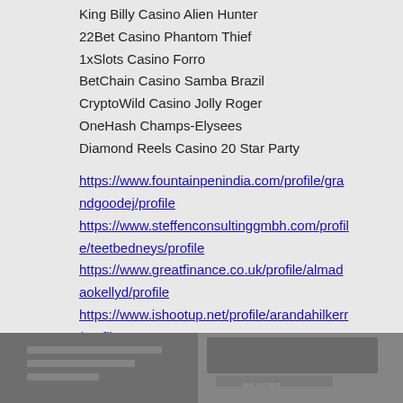King Billy Casino Alien Hunter
22Bet Casino Phantom Thief
1xSlots Casino Forro
BetChain Casino Samba Brazil
CryptoWild Casino Jolly Roger
OneHash Champs-Elysees
Diamond Reels Casino 20 Star Party
https://www.fountainpenindia.com/profile/grandgoodej/profile
https://www.steffenconsultinggmbh.com/profile/teetbedneys/profile
https://www.greatfinance.co.uk/profile/almadaokellyd/profile
https://www.ishootup.net/profile/arandahilkerr/profile
[Figure (screenshot): Partially visible screenshot of a webpage at the bottom of the page, shown in grayscale/dark gray tones]